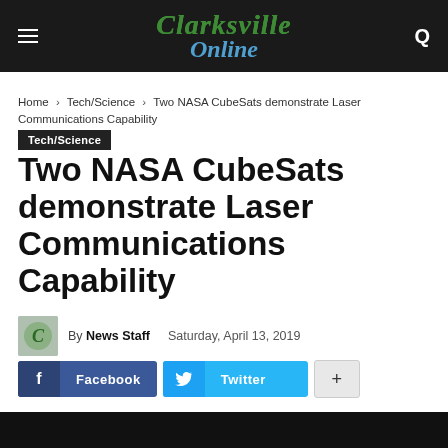Clarksville Online
Home › Tech/Science › Two NASA CubeSats demonstrate Laser Communications Capability
Tech/Science
Two NASA CubeSats demonstrate Laser Communications Capability
By News Staff   Saturday, April 13, 2019
Facebook   Twitter   +